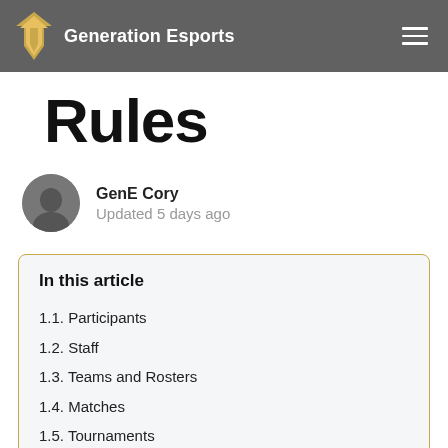Generation Esports
Rules
GenE Cory
Updated 5 days ago
In this article
1.1. Participants
1.2. Staff
1.3. Teams and Rosters
1.4. Matches
1.5. Tournaments
1.6. Tournament Stages
1.7. Match Format